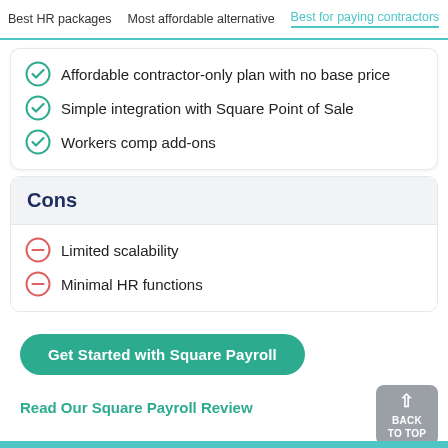Best HR packages | Most affordable alternative | Best for paying contractors
Affordable contractor-only plan with no base price
Simple integration with Square Point of Sale
Workers comp add-ons
Cons
Limited scalability
Minimal HR functions
Get Started with Square Payroll
Read Our Square Payroll Review